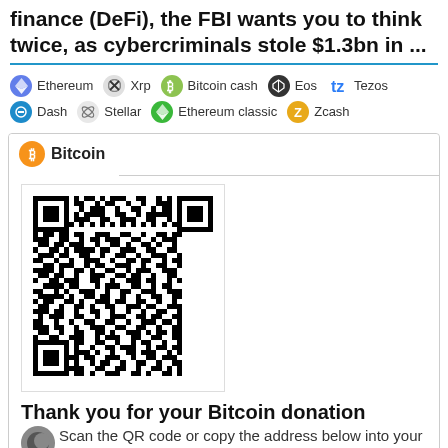finance (DeFi), the FBI wants you to think twice, as cybercriminals stole $1.3bn in ...
Ethereum  Xrp  Bitcoin cash  Eos  Tezos  Dash  Stellar  Ethereum classic  Zcash
Bitcoin
[Figure (other): QR code for Bitcoin donation]
Thank you for your Bitcoin donation
Scan the QR code or copy the address below into your wallet to send Bitcoin